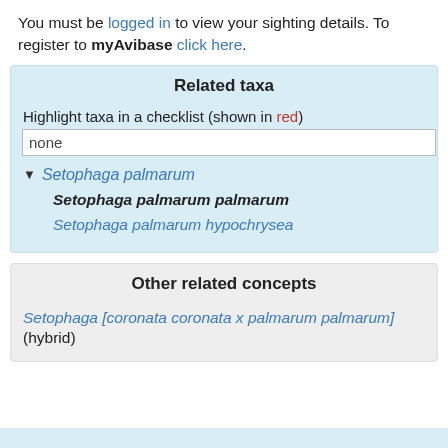You must be logged in to view your sighting details. To register to myAvibase click here.
Related taxa
Highlight taxa in a checklist (shown in red)
none
▼ Setophaga palmarum
Setophaga palmarum palmarum
Setophaga palmarum hypochrysea
Other related concepts
Setophaga [coronata coronata x palmarum palmarum] (hybrid)